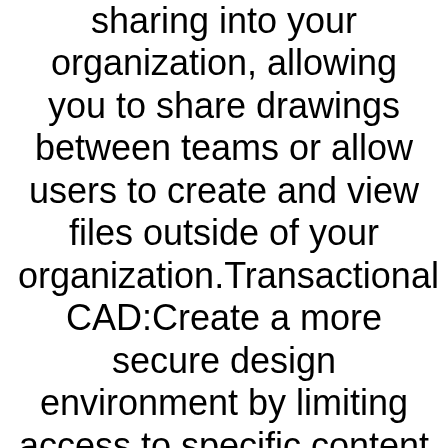sharing into your organization, allowing you to share drawings between teams or allow users to create and view files outside of your organization.Transactional CAD:Create a more secure design environment by limiting access to specific content and requiring authentication for file